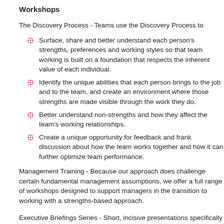Workshops
The Discovery Process - Teams use the Discovery Process to
Surface, share and better understand each person’s strengths, preferences and working styles so that team working is built on a foundation that respects the inherent value of each individual.
Identify the unique abilities that each person brings to the job and to the team, and create an environment where those strengths are made visible through the work they do.
Better understand non-strengths and how they affect the team’s working relationships.
Create a unique opportunity for feedback and frank discussion about how the team works together and how it can further optimize team performance.
Management Training - Because our approach does challenge certain fundamental management assumptions, we offer a full range of workshops designed to support managers in the transition to working with a strengths-based approach.
Executive Briefings Series - Short, incisive presentations specifically designed for Business Owners and Leaders.